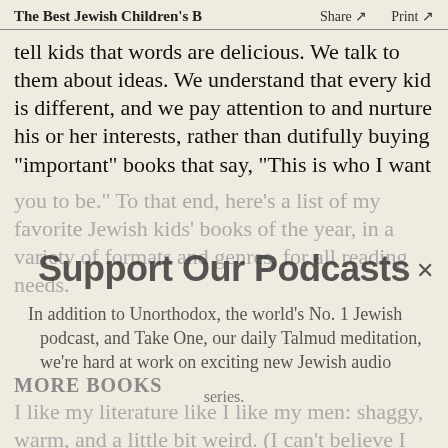The Best Jewish Children's B  Share ↗  Print ↗
tell kids that words are delicious. We talk to them about ideas. We understand that every kid is different, and we pay attention to and nurture his or her interests, rather than dutifully buying “important” books that say, “This is who I want
you to be.” To that end, here’s a list of my favorite Jewish kids’ books of the year, in a variety of formats and genres, for all reading needs.
[Figure (other): Support Our Podcasts overlay banner with close X button]
In addition to Unorthodox, the world’s No. 1 Jewish podcast, and Take One, our daily Talmud meditation, we’re hard at work on exciting new Jewish audio series.
MORE BOOKS
I like my literature like I like my men: shaggy, warm, and a little bit weird. (I can’t believe I just